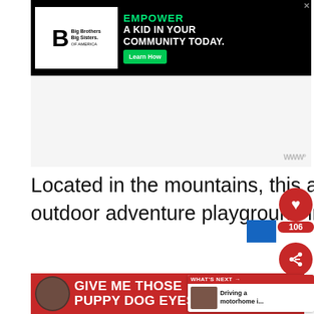[Figure (screenshot): Advertisement banner: Big Brothers Big Sisters logo on white background, black banner with green text EMPOWER A KID IN YOUR COMMUNITY TODAY. and green Learn How button]
[Figure (screenshot): Gray placeholder area below top advertisement]
Located in the mountains, this area is a ski resort in winter and an outdoor adventure playground in summer.
Known for: lake and river fishing, white water rafting, hiking. mountain climbing
[Figure (screenshot): Bottom advertisement: red banner with Give Me Those Puppy Dog Eyes text and dog photo]
[Figure (screenshot): What's Next widget: Driving a motorhome i...]
[Figure (screenshot): Social share buttons: heart icon with 106 count and share icon]